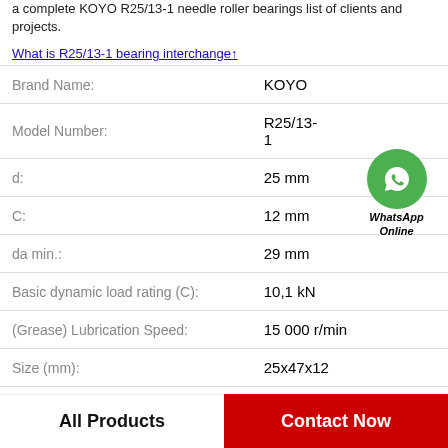a complete KOYO R25/13-1 needle roller bearings list of clients and projects.
What is R25/13-1 bearing interchange↑
| Property | Value |
| --- | --- |
| Brand Name: | KOYO |
| Model Number: | R25/13-1 |
| d: | 25 mm |
| C: | 12 mm |
| da min.: | 29 mm |
| Basic dynamic load rating (C): | 10,1 kN |
| (Grease) Lubrication Speed: | 15 000 r/min |
| Size (mm): | 25x47x12 |
[Figure (illustration): WhatsApp Online contact widget with green phone icon circle and bold italic text 'WhatsApp Online']
All Products
Contact Now